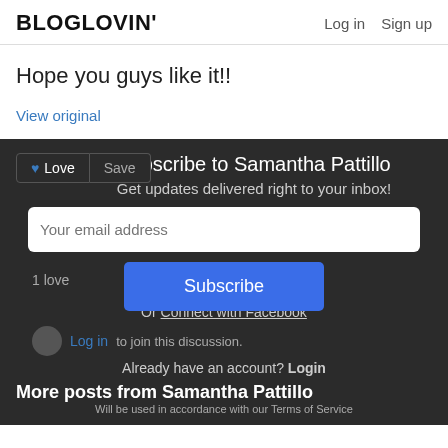BLOGLOVIN'  Log in  Sign up
Hope you guys like it!!
View original
Subscribe to Samantha Pattillo
Get updates delivered right to your inbox!
Your email address
Subscribe
Or Connect with Facebook
Already have an account? Login
1 love
Log in to join this discussion.
More posts from Samantha Pattillo
Will be used in accordance with our Terms of Service